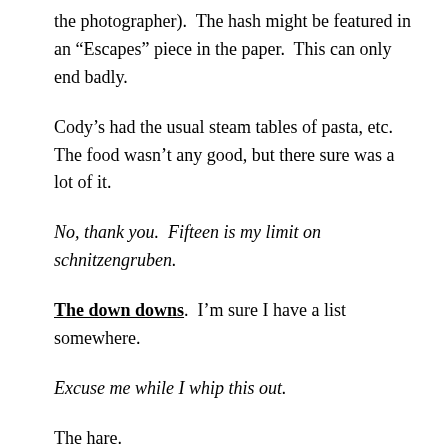the photographer).  The hash might be featured in an “Escapes” piece in the paper.  This can only end badly.
Cody’s had the usual steam tables of pasta, etc.  The food wasn’t any good, but there sure was a lot of it.
No, thank you.  Fifteen is my limit on schnitzengruben.
The down downs.  I’m sure I have a list somewhere.
Excuse me while I whip this out.
The hare.